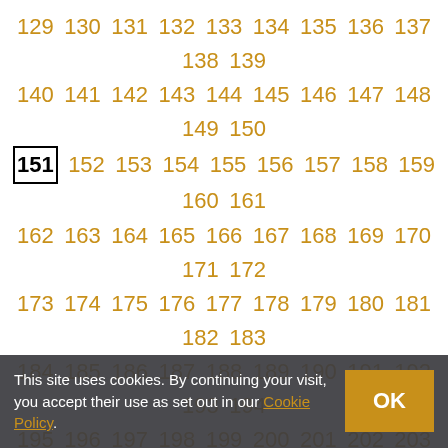129 130 131 132 133 134 135 136 137 138 139 140 141 142 143 144 145 146 147 148 149 150 151 152 153 154 155 156 157 158 159 160 161 162 163 164 165 166 167 168 169 170 171 172 173 174 175 176 177 178 179 180 181 182 183 184 185 186 187 188 189 190 191 192 193 194 195 196 197 198 199 200 201 202 203 204 205 206 207 208 209 210 211 212 213 214 215 216 217 218 219 220
NEXT >
This site uses cookies. By continuing your visit, you accept their use as set out in our Cookie Policy.